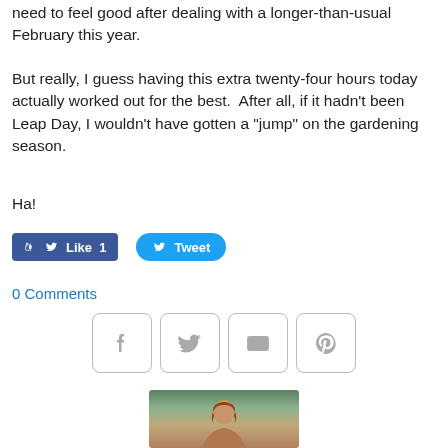need to feel good after dealing with a longer-than-usual February this year.
But really, I guess having this extra twenty-four hours today actually worked out for the best.  After all, if it hadn't been Leap Day, I wouldn't have gotten a "jump" on the gardening season.
Ha!
[Figure (screenshot): Facebook Like button showing count of 1 and Twitter Tweet button]
0 Comments
[Figure (infographic): Row of four social sharing icon buttons: Facebook (f), Twitter (bird), Email (envelope), Pinterest (P)]
[Figure (photo): Partial profile photo of a person with reddish-brown hair, partially cropped at the bottom of the page]